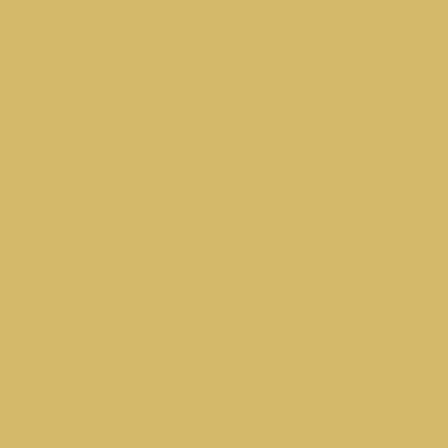12865 12866 12867 12868 12869 12870 12878 12879 12880 12881 12882 12883 12891 12892 12893 12894 12895 12896 12904 12905 12906 12907 12908 12909 12917 12918 12919 12920 12921 12922 12930 12931 12932 12933 12934 12935 12943 12944 12945 12946 12947 12948 12956 12957 12958 12959 12960 12961 12969 12970 12971 12972 12973 12974 12982 12983 12984 12985 12986 12987 12995 12996 12997 12998 12999 13000 13008 13009 13010 13011 13012 13013 13021 13022 13023 13024 13025 13026 13034 13035 13036 13037 13038 13039 13047 13048 13049 13050 13051 13052 13060 13061 13062 13063 13064 13065 13073 13074 13075 13076 13077 13078 13086 13087 13088 13089 13090 13091 13099 13100 13101 13102 13103 13104 13112 13113 13114 13115 13116 13117 13125 13126 13127 13128 13129 13130 13138 13139 13140 13141 13142 13143